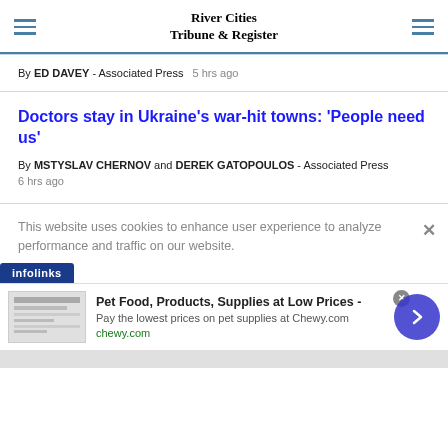River Cities Tribune & Register
By ED DAVEY - Associated Press   5 hrs ago
Doctors stay in Ukraine's war-hit towns: 'People need us'
By MSTYSLAV CHERNOV and DEREK GATOPOULOS - Associated Press
6 hrs ago
This website uses cookies to enhance user experience to analyze performance and traffic on our website.
[Figure (screenshot): Infolinks ad network banner and Chewy.com pet food advertisement with close button and arrow navigation button]